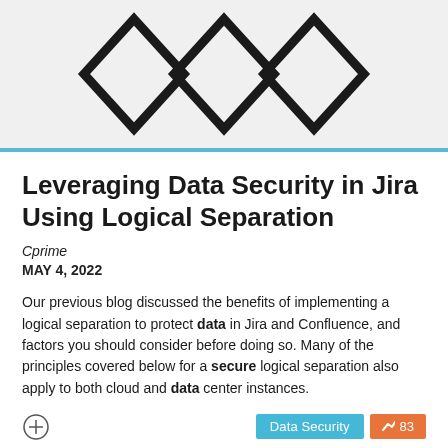[Figure (logo): Abstract diamond/rhombus logo shapes in black on light grey background]
Leveraging Data Security in Jira Using Logical Separation
Cprime
MAY 4, 2022
Our previous blog discussed the benefits of implementing a logical separation to protect data in Jira and Confluence, and factors you should consider before doing so. Many of the principles covered below for a secure logical separation also apply to both cloud and data center instances.
[Figure (photo): Bottom portion showing a person and digital security lock imagery with cyan/blue tones]